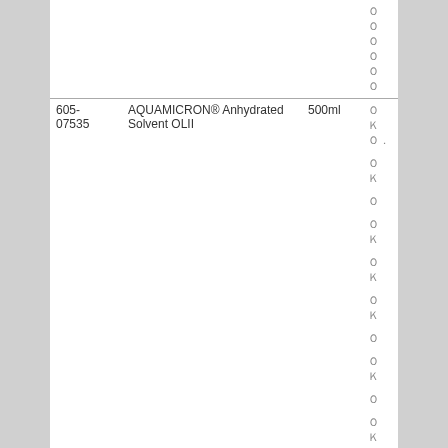| Code | Product Name | Size | Flag | Specification |
| --- | --- | --- | --- | --- |
|  |  |  | ００ |  |
|  |  |  | ００ |  |
|  |  |  | ００ |  |
| 605-07535 | AQUAMICRON® Anhydrated Solvent OLII | 500ml | ＯＫ　Ｏ． | 0.3mgH2O/ml |
|  |  |  | ＯＫ |  |
|  |  |  | Ｏ |  |
|  |  |  | ＯＫ |  |
|  |  |  | ＯＫ |  |
|  |  |  | ＯＫ |  |
|  |  |  | Ｏ |  |
|  |  |  | ＯＫ |  |
|  |  |  | Ｏ |  |
|  |  |  | ＯＫ |  |
|  |  |  | Ｏ |  |
|  |  |  | ＯＫ |  |
|  |  |  | ＯＫ |  |
|  |  |  | ＯＫ |  |
|  |  |  | ＯＫ |  |
|  |  |  | ＯＫ |  |
|  |  |  | Ｏ |  |